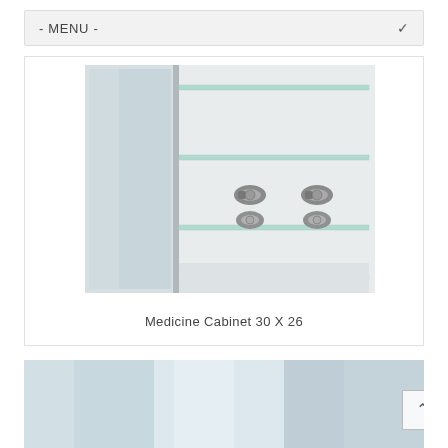- MENU -
[Figure (photo): Interior of a medicine cabinet showing mirrored door open, glass shelves, and metal hinges visible from inside]
Medicine Cabinet 30 X 26
[Figure (photo): Three-panel image showing close-up views of medicine cabinet panels in light blue-gray tones]